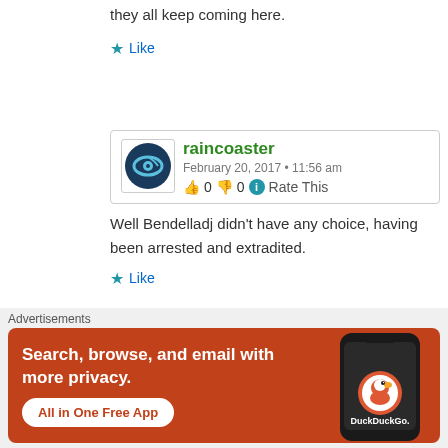they all keep coming here.
Like
raincoaster
February 20, 2017 • 11:56 am
👍 0 👎 0 ℹ Rate This
Well Bendelladj didn't have any choice, having been arrested and extradited.
Like
Advertisements
[Figure (illustration): DuckDuckGo advertisement banner with orange background. Text reads: Search, browse, and email with more privacy. All in One Free App. Shows a phone with DuckDuckGo logo.]